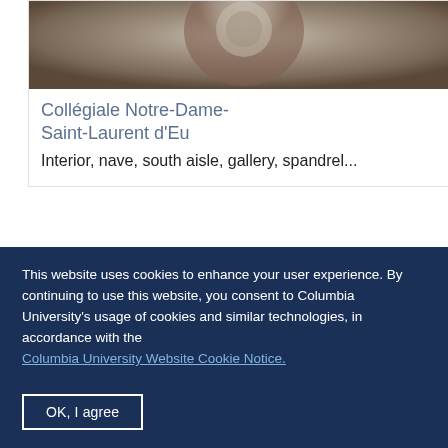[Figure (photo): Architectural detail photo — stone molding or decorative element, cropped at top]
Collégiale Notre-Dame-Saint-Laurent d'Eu
Interior, nave, south aisle, gallery, spandrel...
[Figure (photo): Architectural detail photo — stone cornice or entablature with decorative egg-and-dart or bead molding]
This website uses cookies to enhance your user experience. By continuing to use this website, you consent to Columbia University's usage of cookies and similar technologies, in accordance with the Columbia University Website Cookie Notice.
OK, I agree